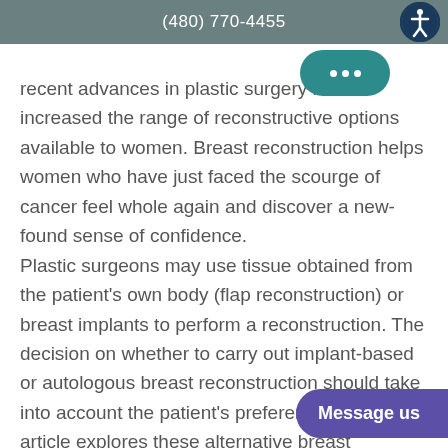(480) 770-4455
recent advances in plastic surgery have increased the range of reconstructive options available to women. Breast reconstruction helps women who have just faced the scourge of cancer feel whole again and discover a new-found sense of confidence. Plastic surgeons may use tissue obtained from the patient's own body (flap reconstruction) or breast implants to perform a reconstruction. The decision on whether to carry out implant-based or autologous breast reconstruction should take into account the patient's preferences. This article explo these alternative breast reconstruction